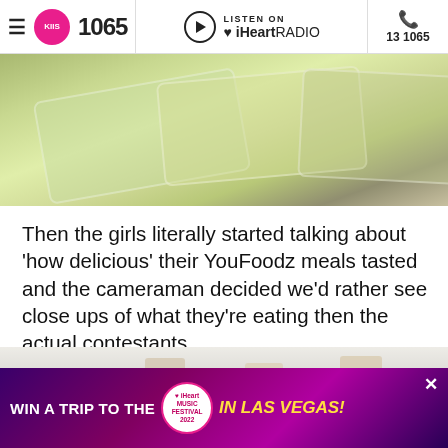KIIS 1065 | LISTEN ON iHeartRADIO | 13 1065
[Figure (photo): Close-up photo of YouFoodz meal trays on a surface, showing green packaged ready-made meals]
Then the girls literally started talking about 'how delicious' their YouFoodz meals tasted and the cameraman decided we'd rather see close ups of what they're eating then the actual contestants.
[Figure (photo): Screenshot from a reality TV show showing women standing in a kitchen, viewed from behind]
[Figure (infographic): Advertisement banner: WIN A TRIP TO THE iHeart Music Festival 2022 IN LAS VEGAS!]